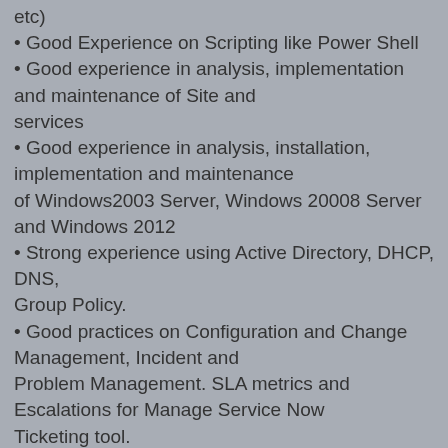etc)
• Good Experience on Scripting like Power Shell
• Good experience in analysis, implementation and maintenance of Site and services
• Good experience in analysis, installation, implementation and maintenance of Windows2003 Server, Windows 20008 Server and Windows 2012
• Strong experience using Active Directory, DHCP, DNS, Group Policy.
• Good practices on Configuration and Change Management, Incident and Problem Management. SLA metrics and Escalations for Manage Service Now Ticketing tool.
• Experience of Installation, configuration, Migration and deployment of Windows 2008 Server.
• Software and Hardware Troubleshooting of Enterprise Servers Environment.
• Sound Knowledge of DCHP setup and troubleshooting,